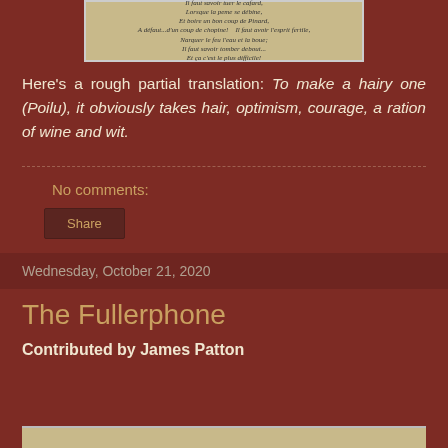[Figure (illustration): Vintage French illustration with two panels showing text in French: 'Il faut savoir tuer le cafard, Lorsque la peme se débine, Et boire un bon coup de Pinard, A défaut...d'un coup de chopine!' and 'Il faut avoir l'esprit fertile, Narquer le feu l'eau et la boue; Il faut savoir tomber debout...Et ça c'est le plus difficile!']
Here's a rough partial translation: To make a hairy one (Poilu), it obviously takes hair, optimism, courage, a ration of wine and wit.
No comments:
Share
Wednesday, October 21, 2020
The Fullerphone
Contributed by James Patton